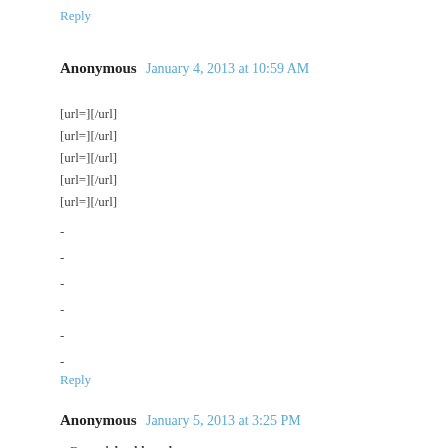Reply
Anonymous  January 4, 2013 at 10:59 AM
[url=][/url]
[url=][/url]
[url=][/url]
[url=][/url]
[url=][/url]
-
-
-
-
-
-
Reply
Anonymous  January 5, 2013 at 3:25 PM
mBzx michael kors bags